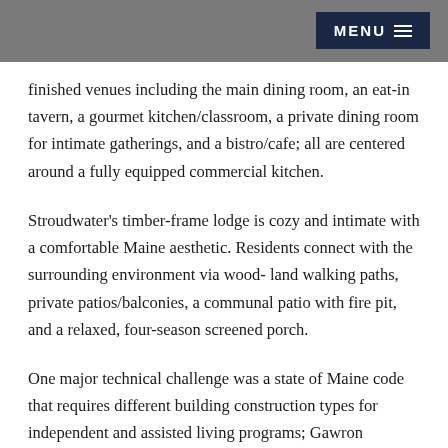MENU
finished venues including the main dining room, an eat-in tavern, a gourmet kitchen/classroom, a private dining room for intimate gatherings, and a bistro/cafe; all are centered around a fully equipped commercial kitchen.
Stroudwater's timber-frame lodge is cozy and intimate with a comfortable Maine aesthetic. Residents connect with the surrounding environment via wood- land walking paths, private patios/balconies, a communal patio with fire pit, and a relaxed, four-season screened porch.
One major technical challenge was a state of Maine code that requires different building construction types for independent and assisted living programs; Gawron Turgeon designed a